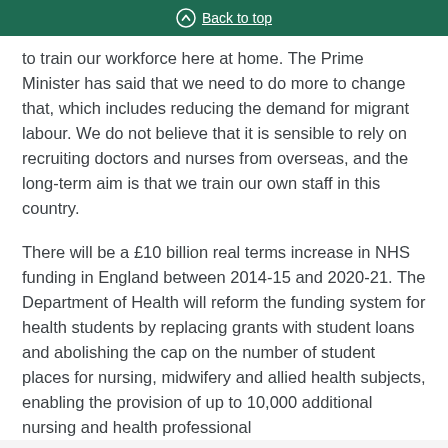Back to top
to train our workforce here at home. The Prime Minister has said that we need to do more to change that, which includes reducing the demand for migrant labour. We do not believe that it is sensible to rely on recruiting doctors and nurses from overseas, and the long-term aim is that we train our own staff in this country.
There will be a £10 billion real terms increase in NHS funding in England between 2014-15 and 2020-21. The Department of Health will reform the funding system for health students by replacing grants with student loans and abolishing the cap on the number of student places for nursing, midwifery and allied health subjects, enabling the provision of up to 10,000 additional nursing and health professional